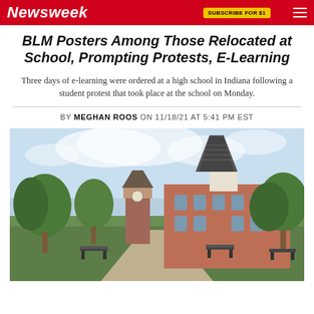Newsweek
BLM Posters Among Those Relocated at School, Prompting Protests, E-Learning
Three days of e-learning were ordered at a high school in Indiana following a student protest that took place at the school on Monday.
BY MEGHAN ROOS ON 11/18/21 AT 5:41 PM EST
[Figure (photo): Exterior photo of a school or university campus building with a distinctive spire/steeple tower, red brick construction, green trees, benches along a walkway, and a partly cloudy sky background.]